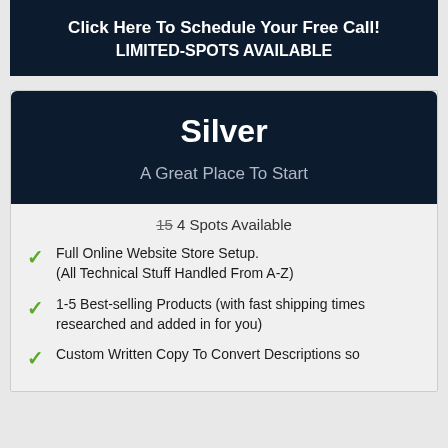Click Here To Schedule Your Free Call!
LIMITED-SPOTS AVAILABLE
Silver
A Great Place To Start
15 4 Spots Available
Full Online Website Store Setup. (All Technical Stuff Handled From A-Z)
1-5 Best-selling Products (with fast shipping times researched and added in for you)
Custom Written Copy To Convert Descriptions so